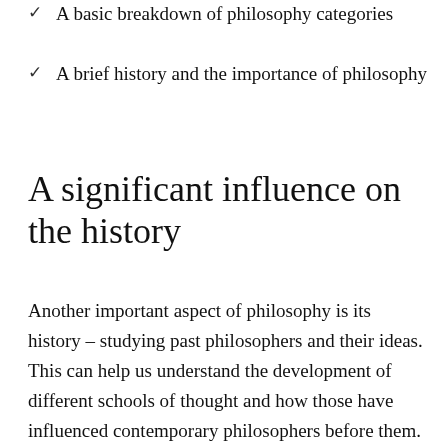A basic breakdown of philosophy categories
A brief history and the importance of philosophy
A significant influence on the history
Another important aspect of philosophy is its history – studying past philosophers and their ideas. This can help us understand the development of different schools of thought and how those have influenced contemporary philosophers before them. Philosophy is a fascinating subject that can offer us new ways of thinking about the world and its place